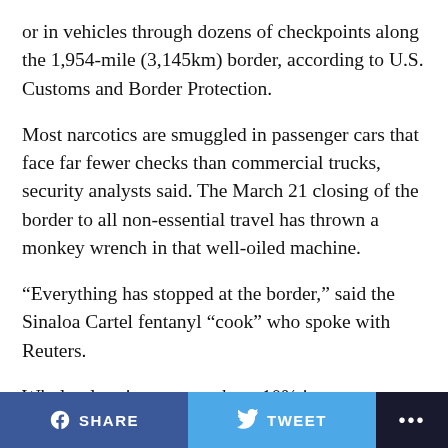or in vehicles through dozens of checkpoints along the 1,954-mile (3,145km) border, according to U.S. Customs and Border Protection.
Most narcotics are smuggled in passenger cars that face far fewer checks than commercial trucks, security analysts said. The March 21 closing of the border to all non-essential travel has thrown a monkey wrench in that well-oiled machine.
“Everything has stopped at the border,” said the Sinaloa Cartel fentanyl “cook” who spoke with Reuters.
Wholesale prices are up about 10% in recent weeks, he added. A kilogram of fentanyl sold wholesale by his organization to a drug buyer in Sinaloa would go for about 12,000 pesos ($490), he said, but that price would
SHARE   TWEET   ...